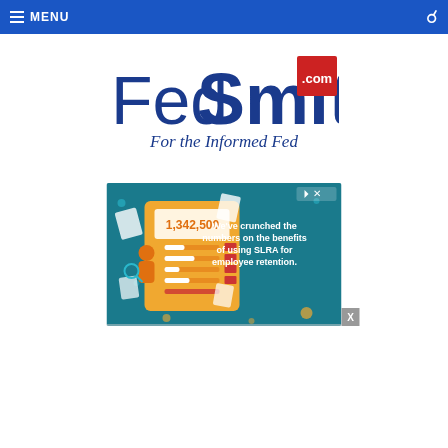MENU
[Figure (logo): FedSmith.com — For the Informed Fed logo with blue and red text]
[Figure (infographic): Advertisement banner with teal background showing a calculator graphic with number 1,342,500 and text: We've crunched the numbers on the benefits of using SLRA for employee retention.]